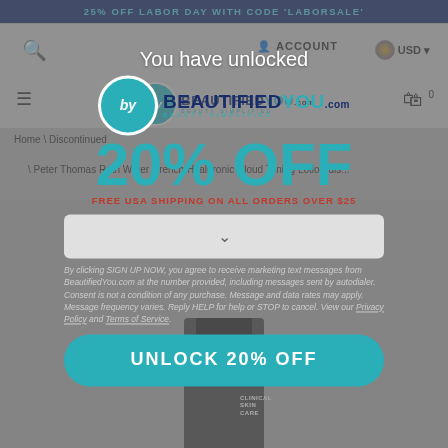25% OFF LABOR DAY WITH CODE 'LABORSALE'
[Figure (screenshot): Website navigation bar with search icon, ACCOUNT link, USD currency selector, hamburger menu, BeautifiedYou logo, and cart with 0 items]
You have unlocked
[Figure (logo): BeautifiedYou.com logo with teal circle 'by' and navy/teal text]
20% OFF
FREE USA SHIPPING ON ALL ORDERS OVER $25
Home \ Discontinued
Peter Thomas Roth Water Drench Hyaluronic Cloud Toning Lotion(dis...
By clicking SIGN UP NOW, you agree to receive marketing text messages from BeautifiedYou.com at the number provided, including messages sent by autodialer. Consent is not a condition of any purchase. Message and data rates may apply. Message frequency varies. Reply HELP for help or STOP to cancel. View our Privacy Policy and Terms of Service.
UNLOCK 20% OFF